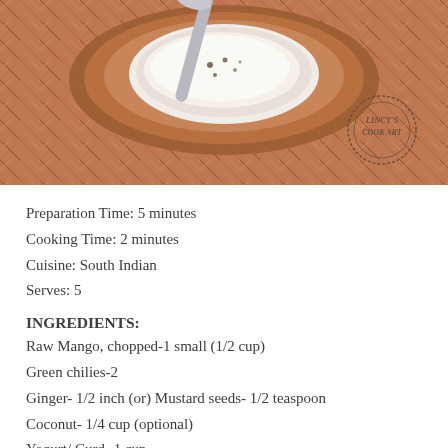[Figure (photo): Overhead view of a white bowl of yogurt/curd-based dish on a wooden plate, with a spoon, placed on a herringbone wood surface. Lincy's Cook Art watermark stamp visible.]
Preparation Time: 5 minutes
Cooking Time: 2 minutes
Cuisine: South Indian
Serves: 5
INGREDIENTS:
Raw Mango, chopped-1 small (1/2 cup)
Green chilies-2
Ginger- 1/2 inch (or) Mustard seeds- 1/2 teaspoon
Coconut- 1/4 cup (optional)
Yogurt/ Curd- 1 cup